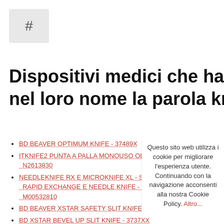[Figure (other): Hash/pound symbol icon in a grey rounded rectangle box]
Dispositivi medici che hanno nel loro nome la parola knife
BD BEAVER OPTIMUM KNIFE - 37489X
ITKNIFE2 PUNTA A PALLA MONOUSO OLYMPUS - N2613830
NEEDLEKNIFE RX E MICROKNIFE XL - SPHINCTE RAPID EXCHANGE E NEEDLE KNIFE - M005458400 M00532810
BD BEAVER XSTAR SAFETY SLIT KNIFE - 37XXXX
BD XSTAR BEVEL UP SLIT KNIFE - 3737XX
BD SCLERATOME KNIFE - 375701
BISTURI DI DIAMANTE CON PUNTA ANGOLATA A
"CRESCENT KNIFE DOUBLE BEVEL" - 2205 E
Questo sito web utilizza i cookie per migliorare l'esperienza utente. Continuando con la navigazione acconsenti alla nostra Cookie Policy. Altro...